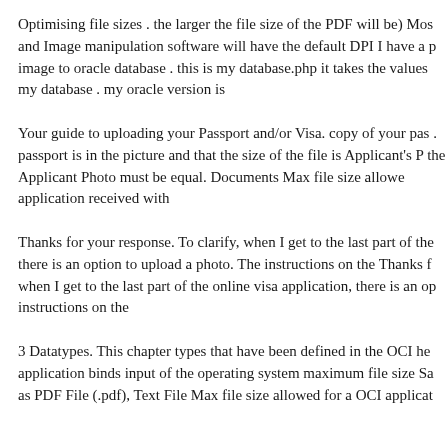Optimising file sizes . the larger the file size of the PDF will be) Mos and Image manipulation software will have the default DPI I have a p image to oracle database . this is my database.php it takes the values my database . my oracle version is
Your guide to uploading your Passport and/or Visa. copy of your pas . passport is in the picture and that the size of the file is Applicant's P the Applicant Photo must be equal. Documents Max file size allowe application received with
Thanks for your response. To clarify, when I get to the last part of the there is an option to upload a photo. The instructions on the Thanks f when I get to the last part of the online visa application, there is an op instructions on the
3 Datatypes. This chapter types that have been defined in the OCI he application binds input of the operating system maximum file size Sa as PDF File (.pdf), Text File Max file size allowed for a OCI applicat